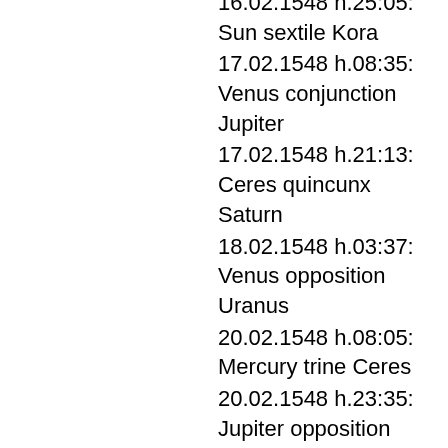16.02.1548 h.25:05: Sun sextile Kora
17.02.1548 h.08:35: Venus conjunction Jupiter
17.02.1548 h.21:13: Ceres quincunx Saturn
18.02.1548 h.03:37: Venus opposition Uranus
20.02.1548 h.08:05: Mercury trine Ceres
20.02.1548 h.23:35: Jupiter opposition Uranus
23.02.1548 h.10:58: Mars trine Uranus
24.02.1548 h.06:30: Venus ingres Aries
24.02.1548 h.18:06: Sun sextile Saturn
24.02.1548 h.20:43: Mars sextile Jupiter
25.02.1548 h.12:56: Mercury quincunx Uranus
25.02.1548 h.20:56: Sun square Ceres
26.02.1548 h.23:29: Mercury conjunction Pluto